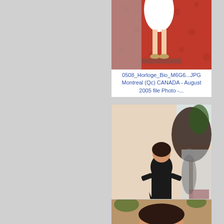[Figure (photo): Photo of a woman in a white dress standing on a red carpet, cropped to show lower body and legs. Filename: 0508_Horloge_Bio_M6G6...JPG]
0508_Horloge_Bio_M6G6...JPG Montreal (Qc) CANADA - August 2005 file Photo -...
[Figure (photo): Photo of a woman in a black dress standing in a hotel lobby with red carpet and tropical plants. Filename: 0508_Horloge_Bio_M6G6...JPG]
0508_Horloge_Bio_M6G6...JPG Montreal (Qc) CANADA - August 2005 file Photo -...
[Figure (photo): Partial photo of a person's face, cropped at bottom of page.]